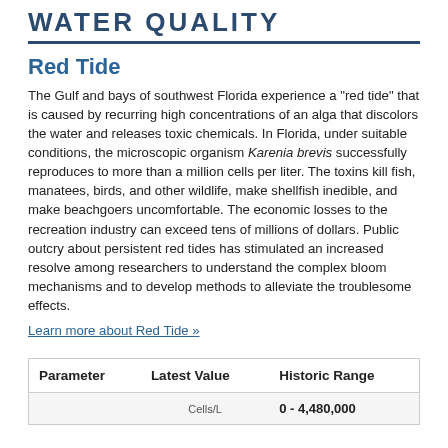WATER QUALITY
Red Tide
The Gulf and bays of southwest Florida experience a "red tide" that is caused by recurring high concentrations of an alga that discolors the water and releases toxic chemicals. In Florida, under suitable conditions, the microscopic organism Karenia brevis successfully reproduces to more than a million cells per liter. The toxins kill fish, manatees, birds, and other wildlife, make shellfish inedible, and make beachgoers uncomfortable. The economic losses to the recreation industry can exceed tens of millions of dollars. Public outcry about persistent red tides has stimulated an increased resolve among researchers to understand the complex bloom mechanisms and to develop methods to alleviate the troublesome effects.
Learn more about Red Tide »
| Parameter | Latest Value | Historic Range |
| --- | --- | --- |
|  |  | 0 - 4,480,000 |